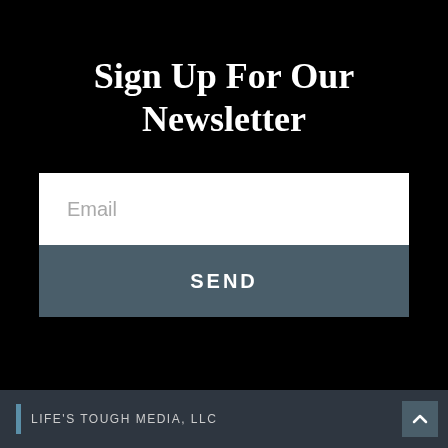Sign Up For Our Newsletter
Email
SEND
LIFE'S TOUGH MEDIA, LLC